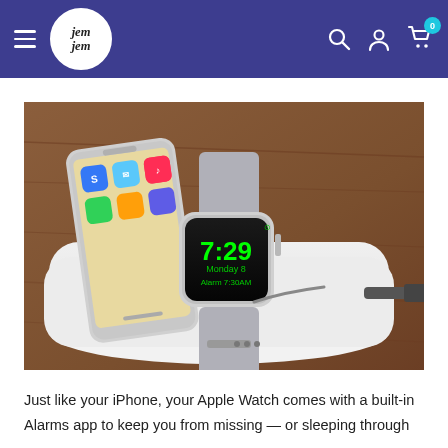jem jem — navigation header with hamburger menu, logo, search, account, and cart icons
[Figure (photo): Close-up photo of an Apple Watch showing 7:29 Monday 8, Alarm 7:30AM on its face, with a gray band, resting on a white charging dock next to an iPhone on a wooden surface.]
Just like your iPhone, your Apple Watch comes with a built-in Alarms app to keep you from missing — or sleeping through —